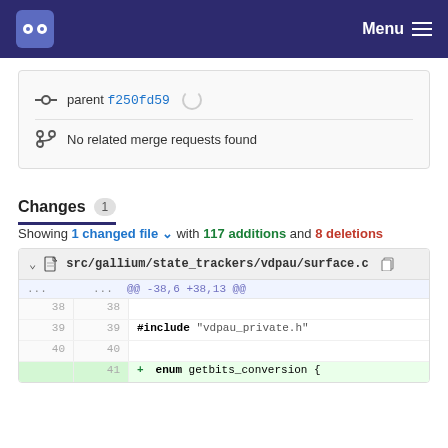GitLab navigation bar with logo and Menu
parent f250fd59 (spinner)
No related merge requests found
Changes 1
Showing 1 changed file with 117 additions and 8 deletions
| old line | new line | code |
| --- | --- | --- |
| ... | ... | @@ -38,6 +38,13 @@ |
| 38 | 38 |  |
| 39 | 39 | #include "vdpau_private.h" |
| 40 | 40 |  |
|  | 41 | + enum getbits_conversion { |